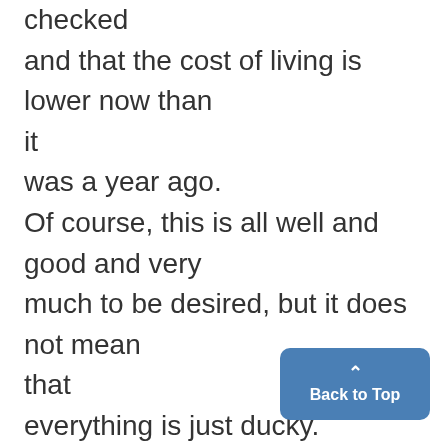checked and that the cost of living is lower now than it was a year ago. Of course, this is all well and good and very much to be desired, but it does not mean that everything is just ducky. However, FDR chooses to put on rose-colored glasses, stick his tongue in his cheek and say, "We must no[t jeopardize] these gains by any change of p[olicy or] relaxation